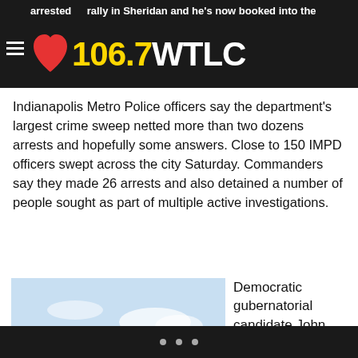arrested... rally in Sheridan and he's now booked into the — 106.7 WTLC
Indianapolis Metro Police officers say the department's largest crime sweep netted more than two dozens arrests and hopefully some answers. Close to 150 IMPD officers swept across the city Saturday. Commanders say they made 26 arrests and also detained a number of people sought as part of multiple active investigations.
[Figure (photo): Photo of a balding older man with glasses and a mustache, smiling, wearing a light blue shirt, outdoors with sky in background.]
Democratic gubernatorial candidate John Gregg says if he becomes governor...